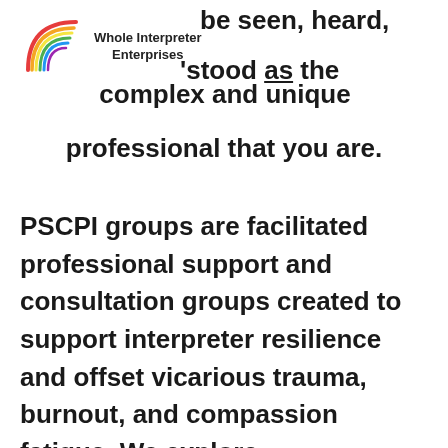[Figure (logo): Whole Interpreter Enterprises rainbow arc logo with company name]
be seen, heard, understood as the complex and unique professional that you are.
PSCPI groups are facilitated professional support and consultation groups created to support interpreter resilience and offset vicarious trauma, burnout, and compassion fatigue. We explore